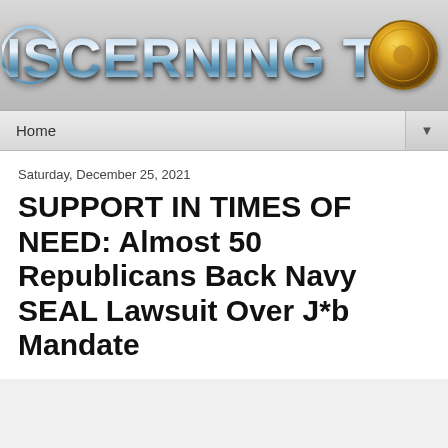[Figure (logo): Discerning The Mystery website logo with metallic blue/silver stylized text and a golden coin graphic on the right]
Home ▼
Saturday, December 25, 2021
SUPPORT IN TIMES OF NEED: Almost 50 Republicans Back Navy SEAL Lawsuit Over J*b Mandate